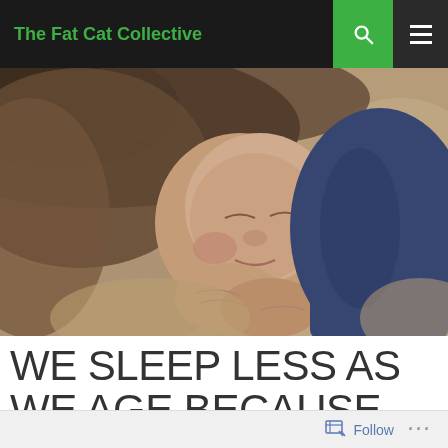The Fat Cat Collective
[Figure (photo): A young child sleeping peacefully on a bed, resting their head on their hands, wearing a dark blue long-sleeve shirt, lying on beige patterned bedding]
WE SLEEP LESS AS WE AGE BECAUSE OUR BRAINS DON'T THINK WE'RE TIRED